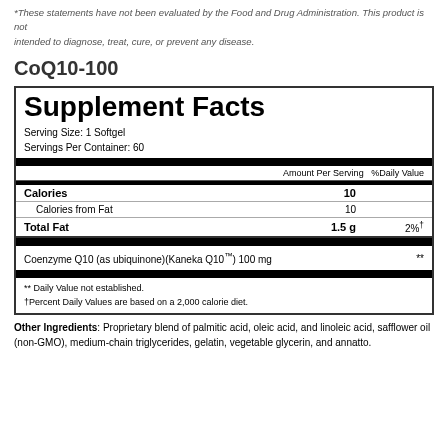*These statements have not been evaluated by the Food and Drug Administration. This product is not intended to diagnose, treat, cure, or prevent any disease.
CoQ10-100
|  | Amount Per Serving | %Daily Value |
| --- | --- | --- |
| Calories | 10 |  |
| Calories from Fat | 10 |  |
| Total Fat | 1.5 g | 2%† |
| Coenzyme Q10 (as ubiquinone)(Kaneka Q10™) 100 mg |  | ** |
** Daily Value not established.
†Percent Daily Values are based on a 2,000 calorie diet.
Other Ingredients: Proprietary blend of palmitic acid, oleic acid, and linoleic acid, safflower oil (non-GMO), medium-chain triglycerides, gelatin, vegetable glycerin, and annatto.